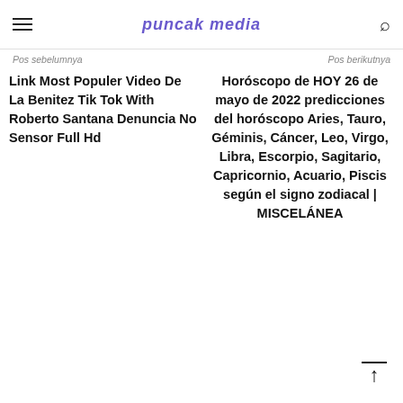puncak media
Pos sebelumnya
Pos berikutnya
Link Most Populer Video De La Benitez Tik Tok With Roberto Santana Denuncia No Sensor Full Hd
Horóscopo de HOY 26 de mayo de 2022 predicciones del horóscopo Aries, Tauro, Géminis, Cáncer, Leo, Virgo, Libra, Escorpio, Sagitario, Capricornio, Acuario, Piscis según el signo zodiacal | MISCELÁNEA